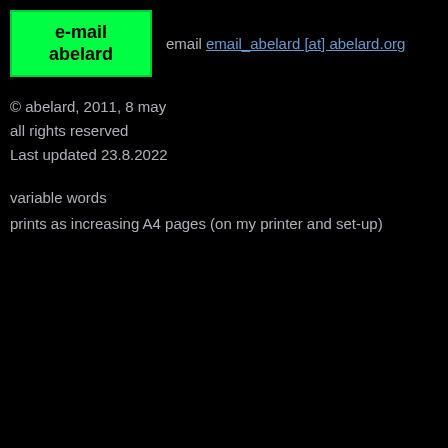[Figure (logo): Green box with black bold text reading 'e-mail abelard']
email email_abelard [at] abelard.org
© abelard, 2011, 8 may
all rights reserved
Last updated 23.8.2022
variable words
prints as increasing A4 pages (on my printer and set-up)